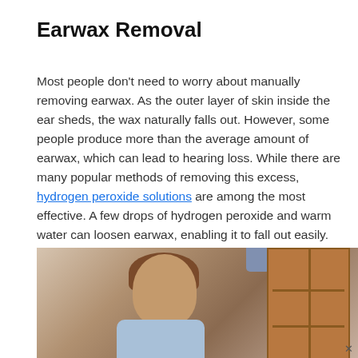Earwax Removal
Most people don't need to worry about manually removing earwax. As the outer layer of skin inside the ear sheds, the wax naturally falls out. However, some people produce more than the average amount of earwax, which can lead to hearing loss. While there are many popular methods of removing this excess, hydrogen peroxide solutions are among the most effective. A few drops of hydrogen peroxide and warm water can loosen earwax, enabling it to fall out easily.
[Figure (photo): A woman looking downward near a wooden cabinet or shelving unit, wearing a light blue shirt, with a beige/cream background.]